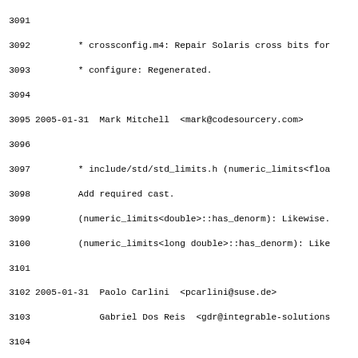Source code changelog/log lines 3091-3122, showing commit entries for crossconfig.m4, configure, std_limits.h, cpp_type_traits.h, type_traits.h, Makefile, backward/tempbuf.h, bits/basic_string.h, bits/stl_bvector.h, bits/stl_construct.h, bits/stl_deque.h